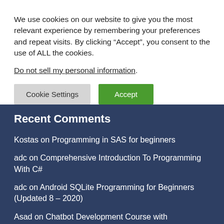We use cookies on our website to give you the most relevant experience by remembering your preferences and repeat visits. By clicking “Accept”, you consent to the use of ALL the cookies. Do not sell my personal information.
Cookie Settings | Accept
Recent Comments
Kostas on Programming in SAS for beginners
adc on Comprehensive Introduction To Programming With C#
adc on Android SQLite Programming for Beginners (Updated 8 – 2020)
Asad on Chatbot Development Course with monetization